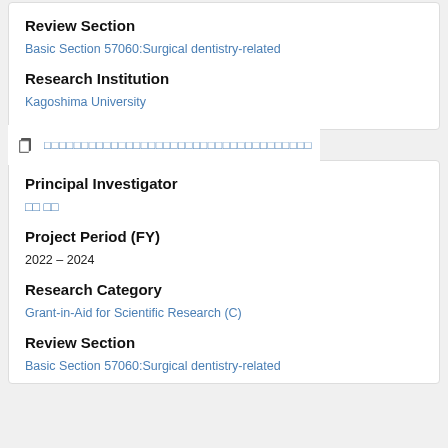Review Section
Basic Section 57060:Surgical dentistry-related
Research Institution
Kagoshima University
（Japanese text link row）
Principal Investigator
（Japanese name）
Project Period (FY)
2022 – 2024
Research Category
Grant-in-Aid for Scientific Research (C)
Review Section
Basic Section 57060:Surgical dentistry-related